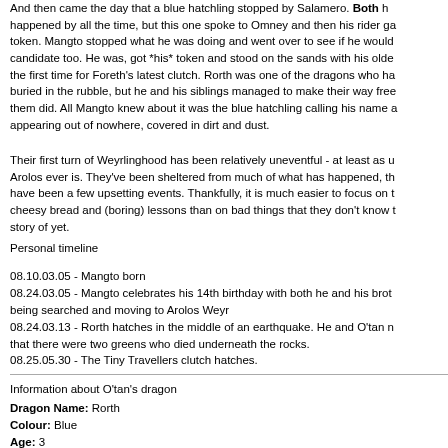And then came the day that a blue hatchling stopped by Salamero. Both happened by all the time, but this one spoke to Omney and then his rider ga token. Mangto stopped what he was doing and went over to see if he would candidate too. He was, got *his* token and stood on the sands with his olde the first time for Foreth's latest clutch. Rorth was one of the dragons who ha buried in the rubble, but he and his siblings managed to make their way free them did. All Mangto knew about it was the blue hatchling calling his name a appearing out of nowhere, covered in dirt and dust.
Their first turn of Weyrlinghood has been relatively uneventful - at least as u Arolos ever is. They've been sheltered from much of what has happened, th have been a few upsetting events. Thankfully, it is much easier to focus on t cheesy bread and (boring) lessons than on bad things that they don't know t story of yet.
Personal timeline
08.10.03.05 - Mangto born
08.24.03.05 - Mangto celebrates his 14th birthday with both he and his brot being searched and moving to Arolos Weyr
08.24.03.13 - Rorth hatches in the middle of an earthquake. He and O'tan n that there were two greens who died underneath the rocks.
08.25.05.30 - The Tiny Travellers clutch hatches.
Information about O'tan's dragon
Dragon Name: Rorth
Colour: Blue
Age: 3
Wing (Weyrling Group): Firedance
Appearance: Rorth is a quieter-seeming blue, content to not stand out. He h grown out of his 'teenage gawkiness' phase though he hasn't quite got the sl